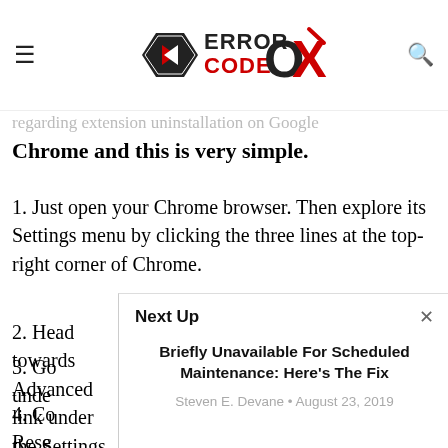ERROR CODE OX [logo]
regarding extension uninstallation on Google Chrome and this is very simple.
1. Just open your Chrome browser. Then explore its Settings menu by clicking the three lines at the top-right corner of Chrome.
2. Head towards Advanced link under the Settings. Click on it.
3. Go … under…
4. Co… Rese…
[Figure (screenshot): Next Up popup overlay with title 'Briefly Unavailable For Scheduled Maintenance: Here's The Fix' by Steven E. Devane, August 23, 2019]